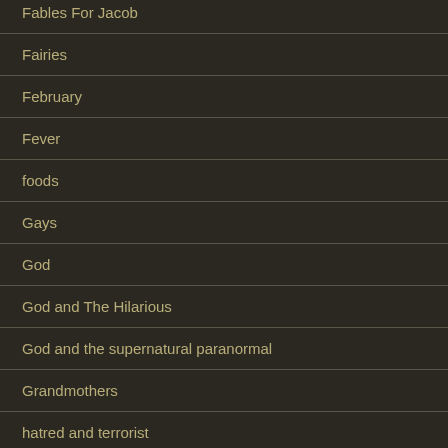Fables For Jacob
Fairies
February
Fever
foods
Gays
God
God and The Hilarious
God and the supernatural paranormal
Grandmothers
hatred and terrorist